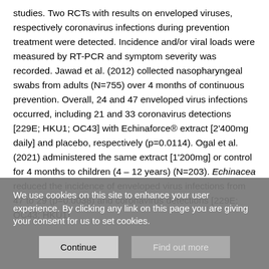studies. Two RCTs with results on enveloped viruses, respectively coronavirus infections during prevention treatment were detected. Incidence and/or viral loads were measured by RT-PCR and symptom severity was recorded. Jawad et al. (2012) collected nasopharyngeal swabs from adults (N=755) over 4 months of continuous prevention. Overall, 24 and 47 enveloped virus infections occurred, including 21 and 33 coronavirus detections [229E; HKU1; OC43] with Echinaforce® extract [2'400mg daily] and placebo, respectively (p=0.0114). Ogal et al. (2021) administered the same extract [1'200mg] or control for 4 months to children (4 – 12 years) (N=203). Echinacea reduced the incidence of enveloped virus infections from 47 to 29 (p=0.0038) and coronavirus detections [229E; OC43; HKU1]...
We use cookies on this site to enhance your user experience. By clicking any link on this page you are giving your consent for us to set cookies.